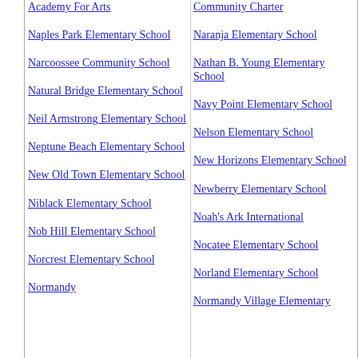Academy For Arts
Community Charter
Naples Park Elementary School
Naranja Elementary School
Narcoossee Community School
Nathan B. Young Elementary School
Natural Bridge Elementary School
Navy Point Elementary School
Neil Armstrong Elementary School
Nelson Elementary School
Neptune Beach Elementary School
New Horizons Elementary School
New Old Town Elementary School
Newberry Elementary School
Niblack Elementary School
Noah's Ark International
Nob Hill Elementary School
Nocatee Elementary School
Norcrest Elementary School
Norland Elementary School
Normandy
Normandy Village Elementary